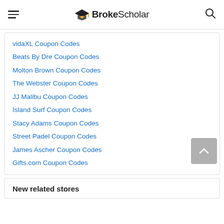BrokeScholar
vidaXL Coupon Codes
Beats By Dre Coupon Codes
Molton Brown Coupon Codes
The Webster Coupon Codes
JJ Malibu Coupon Codes
Island Surf Coupon Codes
Stacy Adams Coupon Codes
Street Padel Coupon Codes
James Ascher Coupon Codes
Gifts.com Coupon Codes
New related stores